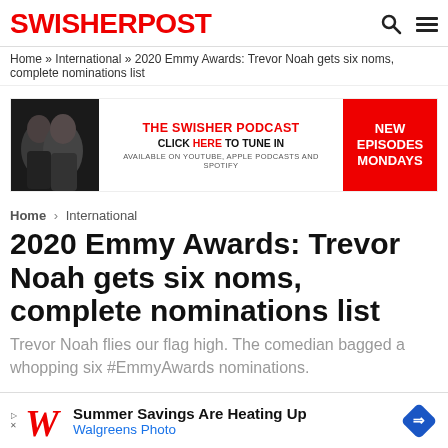SWISHERPOST
Home » International » 2020 Emmy Awards: Trevor Noah gets six noms, complete nominations list
[Figure (infographic): The Swisher Podcast banner with two people, text: THE SWISHER PODCAST CLICK HERE TO TUNE IN AVAILABLE ON YOUTUBE, APPLE PODCASTS AND SPOTIFY, and a red box saying NEW EPISODES MONDAYS]
Home › International
2020 Emmy Awards: Trevor Noah gets six noms, complete nominations list
Trevor Noah flies our flag high. The comedian bagged a whopping six #EmmyAwards nominations.
[Figure (infographic): Walgreens ad banner: Summer Savings Are Heating Up / Walgreens Photo]